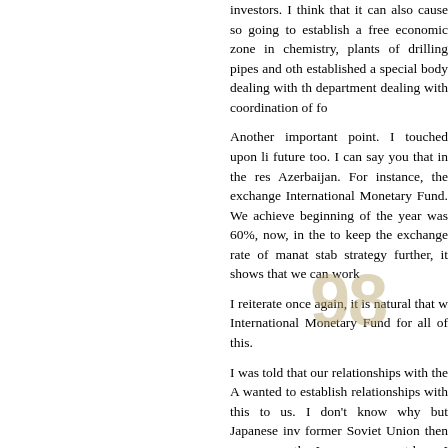investors. I think that it can also cause so going to establish a free economic zone in chemistry, plants of drilling pipes and oth established a special body dealing with th department dealing with coordination of fo
Another important point. I touched upon li future too. I can say you that in the res Azerbaijan. For instance, the exchange International Monetary Fund. We achieve beginning of the year was 60%, now, in the to keep the exchange rate of manat stab strategy further, it shows that we can work
I reiterate once again, it is natural that w International Monetary Fund for all of this.
I was told that our relationships with the A wanted to establish relationships with this to us. I don't know why but Japanese inv former Soviet Union then we can see tha Japan are present here. I invite them also to all of you.
In brief, we definitely adhere the way of th will use the loans from World Bank and In manat, structural changes and restructurin
Actually, there is favorable public and poli Therefore, I invite all of you to cooperate, I
I wish all of you successes in your activity each of you in Azerbaijan. In my preside